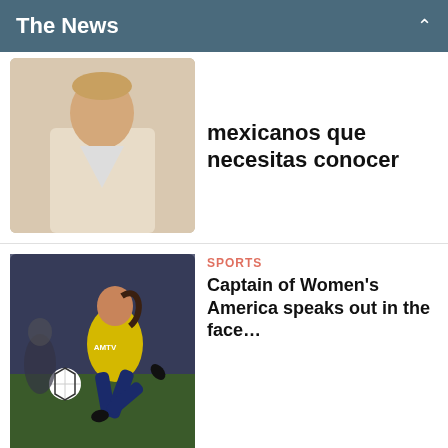The News
[Figure (photo): Man in light suit with bow tie, cropped at torso]
mexicanos que necesitas conocer
[Figure (photo): Female soccer player in yellow America jersey kicking a ball, action shot]
SPORTS
Captain of Women’s America speaks out in the face…
[Figure (photo): Broken image placeholder showing URL: https://www.thenews.m…content/uploads/2016/…768x513.jpg]
LIVING
La Pasqualita: The Mannequin Corpse Bride of Mexico